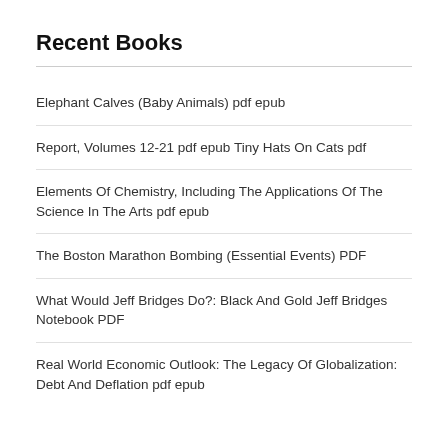Recent Books
Elephant Calves (Baby Animals) pdf epub
Report, Volumes 12-21 pdf epub Tiny Hats On Cats pdf
Elements Of Chemistry, Including The Applications Of The Science In The Arts pdf epub
The Boston Marathon Bombing (Essential Events) PDF
What Would Jeff Bridges Do?: Black And Gold Jeff Bridges Notebook PDF
Real World Economic Outlook: The Legacy Of Globalization: Debt And Deflation pdf epub